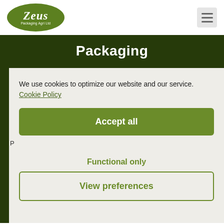[Figure (logo): Zeus Packaging Agri Ltd logo — white text on green oval background]
[Figure (other): Hamburger menu icon — three horizontal lines on light grey square]
Packaging
We use cookies to optimize our website and our service. Cookie Policy
Accept all
Functional only
View preferences